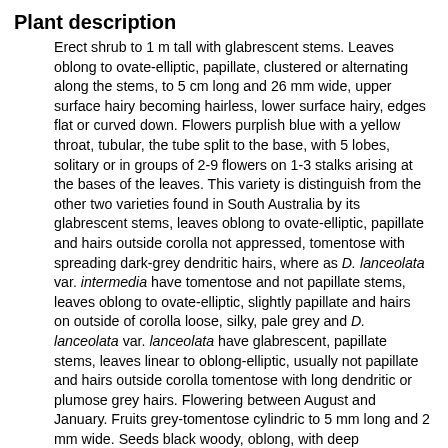Plant description
Erect shrub to 1 m tall with glabrescent stems. Leaves oblong to ovate-elliptic, papillate, clustered or alternating along the stems, to 5 cm long and 26 mm wide, upper surface hairy becoming hairless, lower surface hairy, edges flat or curved down. Flowers purplish blue with a yellow throat, tubular, the tube split to the base, with 5 lobes, solitary or in groups of 2-9 flowers on 1-3 stalks arising at the bases of the leaves. This variety is distinguish from the other two varieties found in South Australia by its glabrescent stems, leaves oblong to ovate-elliptic, papillate and hairs outside corolla not appressed, tomentose with spreading dark-grey dendritic hairs, where as D. lanceolata var. intermedia have tomentose and not papillate stems, leaves oblong to ovate-elliptic, slightly papillate and hairs on outside of corolla loose, silky, pale grey and D. lanceolata var. lanceolata have glabrescent, papillate stems, leaves linear to oblong-elliptic, usually not papillate and hairs outside corolla tomentose with long dendritic or plumose grey hairs. Flowering between August and January. Fruits grey-tomentose cylindric to 5 mm long and 2 mm wide. Seeds black woody, oblong, with deep...